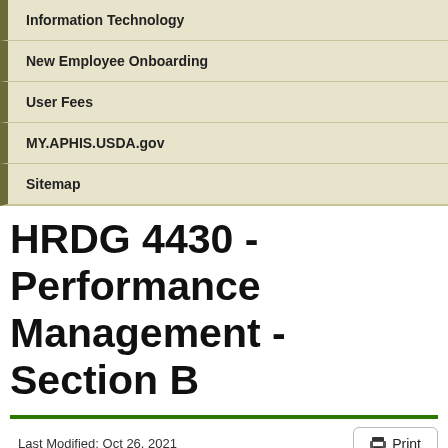Information Technology
New Employee Onboarding
User Fees
MY.APHIS.USDA.gov
Sitemap
HRDG 4430 - Performance Management - Section B
Last Modified: Oct 26, 2021
Subchapter 4430
Performance Management